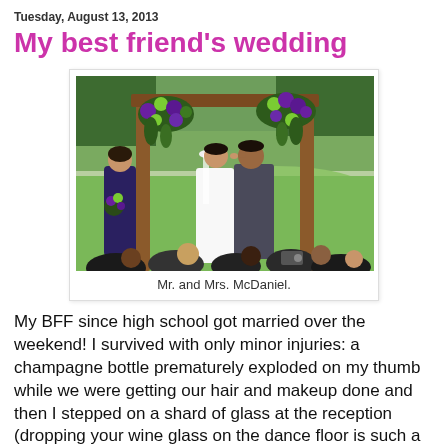Tuesday, August 13, 2013
My best friend's wedding
[Figure (photo): Wedding ceremony photo showing a couple kissing under a wooden arbor decorated with purple and green flowers. A bridesmaid in dark purple stands to the left holding flowers. Guests are visible in the foreground photographing the kiss. Background shows green hills and trees.]
Mr. and Mrs. McDaniel.
My BFF since high school got married over the weekend! I survived with only minor injuries: a champagne bottle prematurely exploded on my thumb while we were getting our hair and makeup done and then I stepped on a shard of glass at the reception (dropping your wine glass on the dance floor is such a party foul, people!)